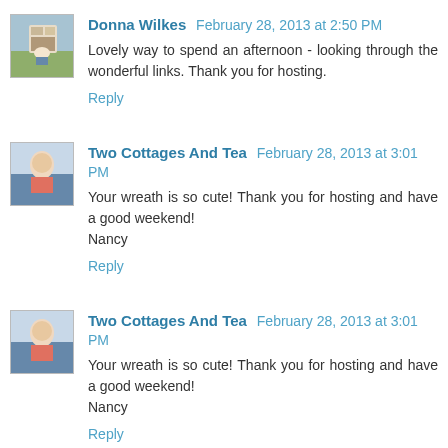[Figure (photo): Avatar photo of Donna Wilkes, small square thumbnail showing a person outdoors]
Donna Wilkes February 28, 2013 at 2:50 PM
Lovely way to spend an afternoon - looking through the wonderful links. Thank you for hosting.
Reply
[Figure (photo): Avatar photo of Two Cottages And Tea, small square thumbnail showing an elderly woman in a pink shirt]
Two Cottages And Tea February 28, 2013 at 3:01 PM
Your wreath is so cute! Thank you for hosting and have a good weekend!
Nancy
Reply
[Figure (photo): Avatar photo of Two Cottages And Tea, small square thumbnail showing an elderly woman in a pink shirt]
Two Cottages And Tea February 28, 2013 at 3:01 PM
Your wreath is so cute! Thank you for hosting and have a good weekend!
Nancy
Reply